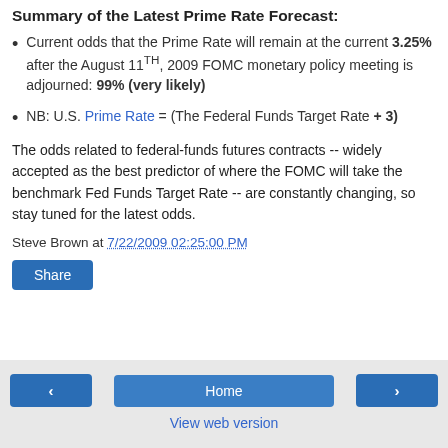Summary of the Latest Prime Rate Forecast:
Current odds that the Prime Rate will remain at the current 3.25% after the August 11TH, 2009 FOMC monetary policy meeting is adjourned: 99% (very likely)
NB: U.S. Prime Rate = (The Federal Funds Target Rate + 3)
The odds related to federal-funds futures contracts -- widely accepted as the best predictor of where the FOMC will take the benchmark Fed Funds Target Rate -- are constantly changing, so stay tuned for the latest odds.
Steve Brown at 7/22/2009 02:25:00 PM
< Home > View web version